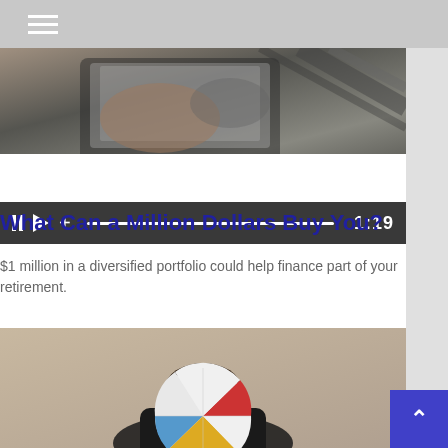Navigation menu
[Figure (screenshot): Video thumbnail showing hands with a tablet/device, with playback controls showing pause, play, plus icons, a progress bar, and timestamp 1:19]
What Can a Million Dollars Buy You?
$1 million in a diversified portfolio could help finance part of your retirement.
[Figure (photo): Person holding a colorful beach ball in front of their face, with red, white, blue, and yellow panels, against a beige/tan background]